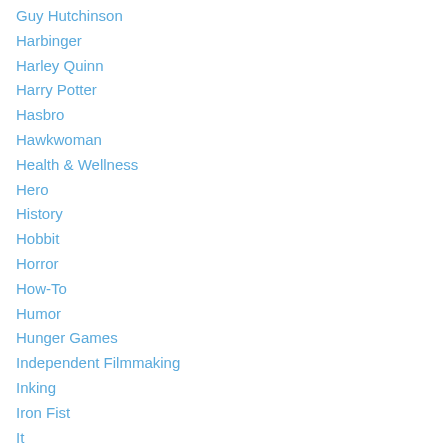Guy Hutchinson
Harbinger
Harley Quinn
Harry Potter
Hasbro
Hawkwoman
Health & Wellness
Hero
History
Hobbit
Horror
How-To
Humor
Hunger Games
Independent Filmmaking
Inking
Iron Fist
It